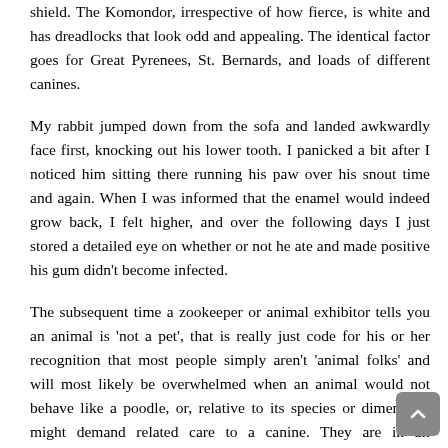shield. The Komondor, irrespective of how fierce, is white and has dreadlocks that look odd and appealing. The identical factor goes for Great Pyrenees, St. Bernards, and loads of different canines.
My rabbit jumped down from the sofa and landed awkwardly face first, knocking out his lower tooth. I panicked a bit after I noticed him sitting there running his paw over his snout time and again. When I was informed that the enamel would indeed grow back, I felt higher, and over the following days I just stored a detailed eye on whether or not he ate and made positive his gum didn't become infected.
The subsequent time a zookeeper or animal exhibitor tells you an animal is 'not a pet', that is really just code for his or her recognition that most people simply aren't 'animal folks' and will most likely be overwhelmed when an animal would not behave like a poodle, or, relative to its species or dimension, might demand related care to a canine. They are in all probability right, but sadly